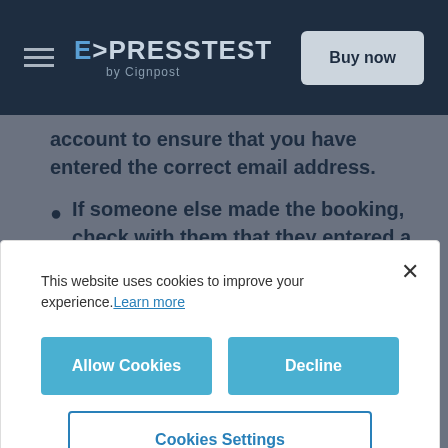EXPRESSTEST by Cignpost | Buy now
account to ensure that you have entered the correct email address.
If someone else made the booking, check with them that they entered a valid email for you in the booking.
This website uses cookies to improve your experience. Learn more
Allow Cookies | Decline
Cookies Settings